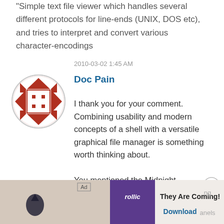"Simple text file viewer which handles several different protocols for line-ends (UNIX, DOS etc), and tries to interpret and convert various character-encodings
2010-03-02 1:45 AM
[Figure (illustration): Circular avatar with red geometric/tribal pattern on white background]
Doc Pain
I thank you for your comment. Combining usability and modern concepts of a shell with a versatile graphical file manager is something worth thinking about.

You mentioned the Midnight Commander. This tool is one of my most important tools in daily work. Its layout, the well-known “two panel mode”, illustrates that many day to day tasks can be called "source
[Figure (infographic): Ad banner at bottom: Ad label, game screenshot, Rollic purple logo box, 'They Are Coming!' text, Download button]